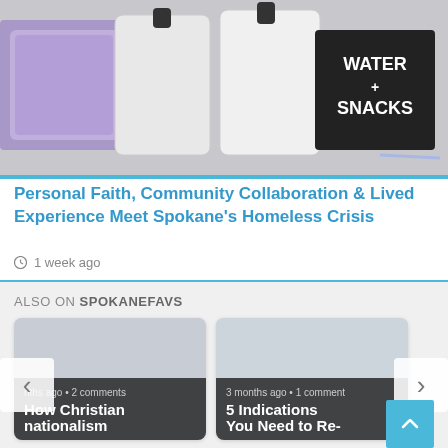[Figure (photo): Photo showing water jugs, purple packaged items (wipes/snacks), and a sign reading 'WATER + SNACKS' on a concrete surface]
Personal Faith, Community Collaboration & Lived Experience Meet Spokane's Homeless Crisis
1 week ago
ALSO ON SPOKANEFAVS
[Figure (photo): Thumbnail image for 'How Christian nationalism caused the...' article, gray background]
nths ago • 2 comments
How Christian nationalism caused the...
[Figure (photo): Thumbnail image for '5 Indications You Need to Re-Work Your Faith...' article, gray background]
3 months ago • 1 comment
5 Indications You Need to Re-Work Your Faith...